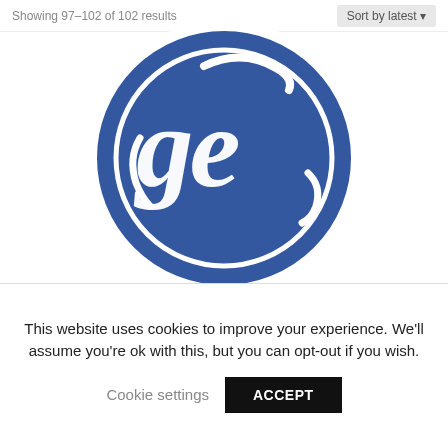Showing 97–102 of 102 results   Sort by latest
[Figure (logo): General Electric (GE) logo — blue circle with white cursive 'GE' monogram lettering]
This website uses cookies to improve your experience. We'll assume you're ok with this, but you can opt-out if you wish.
Cookie settings   ACCEPT